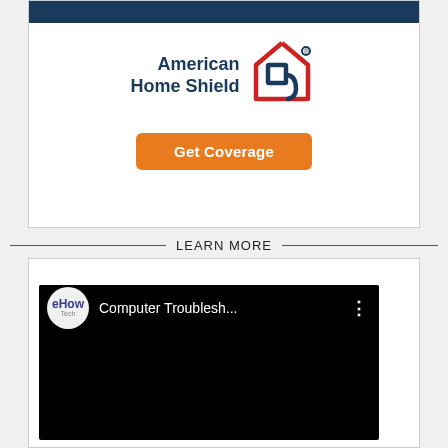[Figure (logo): American Home Shield advertisement with logo and Get Coverage button on white background with dark blue banner]
LEARN MORE
[Figure (screenshot): YouTube video thumbnail showing eHow Tech channel with title 'Computer Troublesh...' on black background]